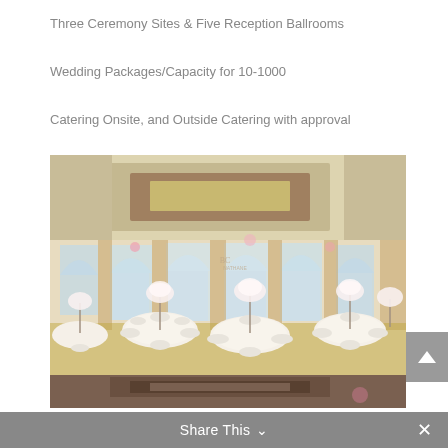Three Ceremony Sites & Five Reception Ballrooms
Wedding Packages/Capacity for 10-1000
Catering Onsite, and Outside Catering with approval
[Figure (photo): Elegant wedding reception ballroom with round tables set with white linens, tall floral centerpieces, and arched windows in the background. A second partial photo of the same venue appears below.]
Share This